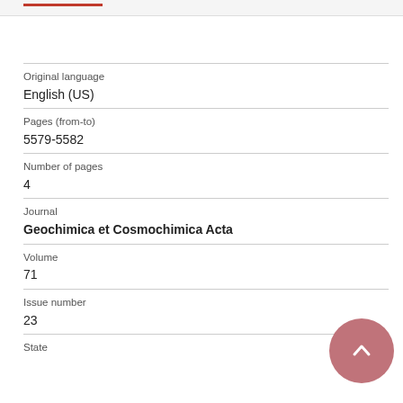Original language
English (US)
Pages (from-to)
5579-5582
Number of pages
4
Journal
Geochimica et Cosmochimica Acta
Volume
71
Issue number
23
State